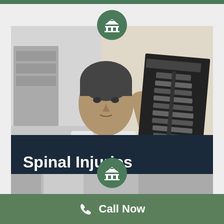[Figure (photo): Black and white photo of a doctor/medical professional in a white coat holding up and examining an X-ray or MRI scan of a spine. Green courthouse/law building icon overlaid at top center.]
Spinal Injuries
SUFFERED SPINAL INJURIES
[Figure (photo): Partial strip of another image visible below the main photo, with a green courthouse icon overlaid at top center.]
Call Now